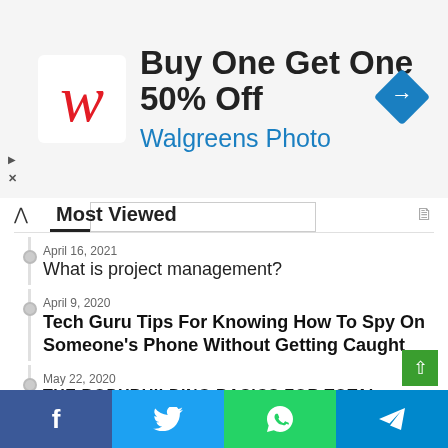[Figure (other): Walgreens advertisement banner: 'Buy One Get One 50% Off' with Walgreens Photo logo and blue arrow navigation icon]
Most Viewed
April 16, 2021 — What is project management?
April 9, 2020 — Tech Guru Tips For Knowing How To Spy On Someone's Phone Without Getting Caught
May 22, 2020 — THE BODYBUILDING BASICS FOR TOTAL BEGINNERS
May 12, 2020 — Top 8 Foods That Improve Your Immune System
July 4, 2020